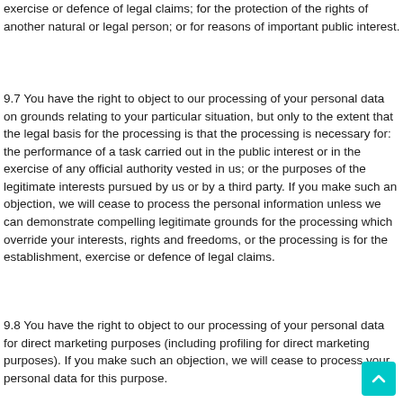exercise or defence of legal claims; for the protection of the rights of another natural or legal person; or for reasons of important public interest.
9.7 You have the right to object to our processing of your personal data on grounds relating to your particular situation, but only to the extent that the legal basis for the processing is that the processing is necessary for: the performance of a task carried out in the public interest or in the exercise of any official authority vested in us; or the purposes of the legitimate interests pursued by us or by a third party. If you make such an objection, we will cease to process the personal information unless we can demonstrate compelling legitimate grounds for the processing which override your interests, rights and freedoms, or the processing is for the establishment, exercise or defence of legal claims.
9.8 You have the right to object to our processing of your personal data for direct marketing purposes (including profiling for direct marketing purposes). If you make such an objection, we will cease to process your personal data for this purpose.